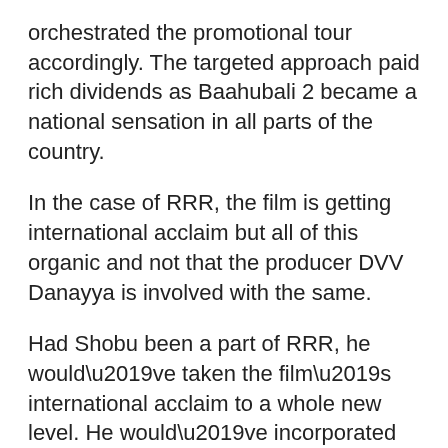orchestrated the promotional tour accordingly. The targeted approach paid rich dividends as Baahubali 2 became a national sensation in all parts of the country.
In the case of RRR, the film is getting international acclaim but all of this organic and not that the producer DVV Danayya is involved with the same.
Had Shobu been a part of RRR, he would’ve taken the film’s international acclaim to a whole new level. He would’ve incorporated advanced promotional strategies involving Data science and AI like Hollywood production houses making using of technology to generate massive buzz and revenues.
Shobu is a well educated producer who can devise winning promotional tours. All the current RRR hype would be something explodable with Shobu at the